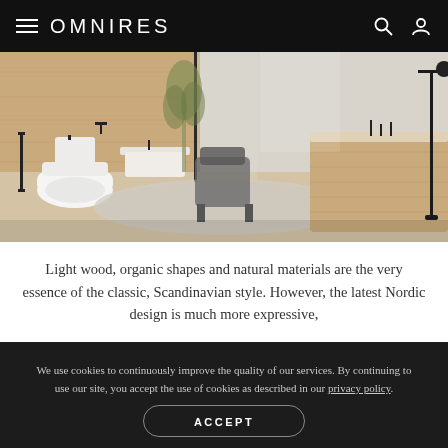OMNIRES
[Figure (photo): Modern Scandinavian-style bathroom with light wood elements, white toilet, bathtub with wood surround, glass shower partition, neutral rug, and black fixtures and floor lamp.]
Light wood, organic shapes and natural materials are the very essence of the classic, Scandinavian style. However, the latest Nordic design is much more expressive,
We use cookies to continuously improve the quality of our services. By continuing to use our site, you accept the use of cookies as described in our privacy policy.
ACCEPT